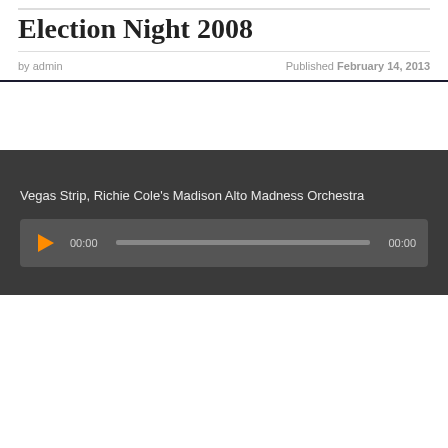Election Night 2008
by admin                             Published February 14, 2013
Vegas Strip, Richie Cole’s Madison Alto Madness Orchestra
[Figure (other): Audio player widget with play button, time display 00:00, progress bar, and end time 00:00]